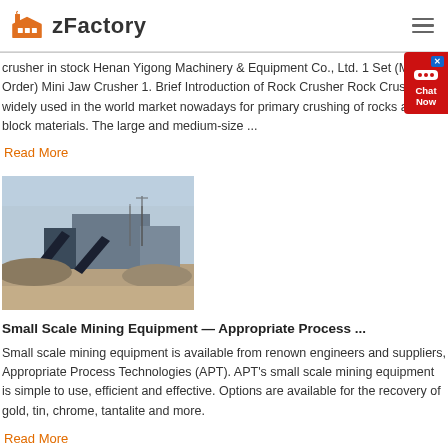zFactory
crusher in stock Henan Yigong Machinery & Equipment Co., Ltd. 1 Set (Min. Order) Mini Jaw Crusher 1. Brief Introduction of Rock Crusher Rock Crusher is widely used in the world market nowadays for primary crushing of rocks and block materials. The large and medium-size ...
Read More
[Figure (photo): Small scale mining equipment facility with conveyor belts and industrial buildings in outdoor setting]
Small Scale Mining Equipment — Appropriate Process ...
Small scale mining equipment is available from renown engineers and suppliers, Appropriate Process Technologies (APT). APT's small scale mining equipment is simple to use, efficient and effective. Options are available for the recovery of gold, tin, chrome, tantalite and more.
Read More